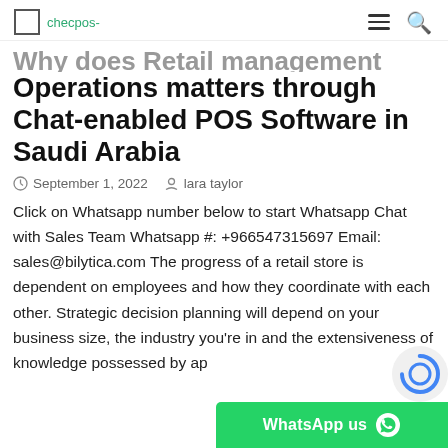checpos-
Why does Retail Management Operations matters through Chat-enabled POS Software in Saudi Arabia
September 1, 2022   lara taylor
Click on Whatsapp number below to start Whatsapp Chat with Sales Team Whatsapp #: +966547315697 Email: sales@bilytica.com The progress of a retail store is dependent on employees and how they coordinate with each other. Strategic decision planning will depend on your business size, the industry you're in and the extensiveness of knowledge possessed by ap